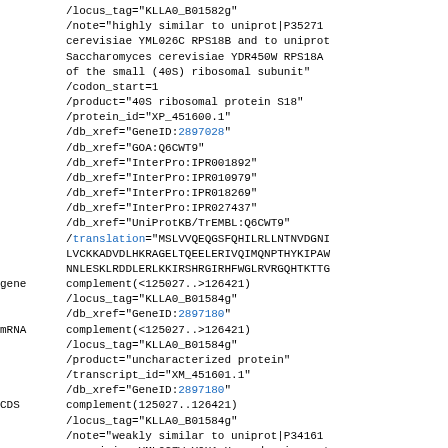/locus_tag="KLLA0_B01582g"
/note="highly similar to uniprot|P35271 Saccharomyces cerevisiae YML026C RPS18B and to uniprot|... Saccharomyces cerevisiae YDR450W RPS18A of the small (40S) ribosomal subunit"
/codon_start=1
/product="40S ribosomal protein S18"
/protein_id="XP_451600.1"
/db_xref="GeneID:2897028"
/db_xref="GOA:Q6CWT9"
/db_xref="InterPro:IPR001892"
/db_xref="InterPro:IPR010979"
/db_xref="InterPro:IPR018269"
/db_xref="InterPro:IPR027437"
/db_xref="UniProtKB/TrEMBL:Q6CWT9"
/translation="MSLVVQEQGSFQHILRLLNTNVDGNI...
LVCKKADVDLHKRAGELTQEELERIVQIMQNPTHYKIPAW...
NNLESKLRDDLERLKKIRSHRGIRHFWGLRVRGQHTKTTG...
gene  complement(<125027..>126421)
/locus_tag="KLLA0_B01584g"
/db_xref="GeneID:2897180"
mRNA  complement(<125027..>126421)
/locus_tag="KLLA0_B01584g"
/product="uncharacterized protein"
/transcript_id="XM_451601.1"
/db_xref="GeneID:2897180"
CDS   complement(125027..126421)
/locus_tag="KLLA0_B01584g"
/note="weakly similar to uniprot|P34161 Saccharomyces cerevisiae YML027W YOX1 Homeodomain-cont... transcriptional repressor binds to Mcm1p... cycle boxes (ECBs) in the promoters of c... cycle regulated genes expressed in M/G1...